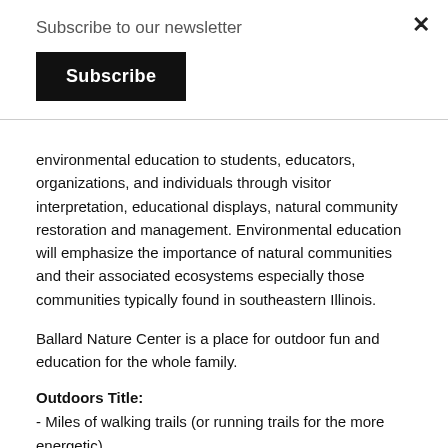Subscribe to our newsletter
Subscribe
environmental education to students, educators, organizations, and individuals through visitor interpretation, educational displays, natural community restoration and management. Environmental education will emphasize the importance of natural communities and their associated ecosystems especially those communities typically found in southeastern Illinois.
Ballard Nature Center is a place for outdoor fun and education for the whole family.
Outdoors Title:
- Miles of walking trails (or running trails for the more energetic)
- Handicapped -accessible trails, pavilions and fishing pier
- A Kids' Fishing Pond
- Large pavilions with picnic tables, electricity, and running water
- Natural communities: woodlands, prairies, wetlands and